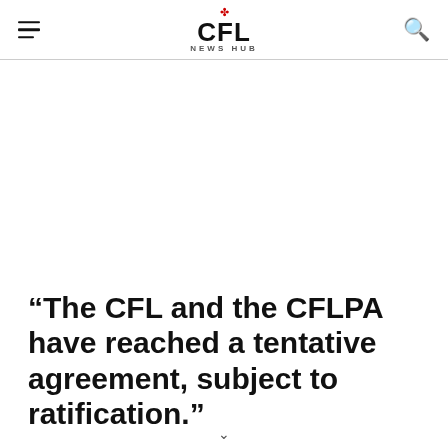CFL NEWS HUB
“The CFL and the CFLPA have reached a tentative agreement, subject to ratification.”